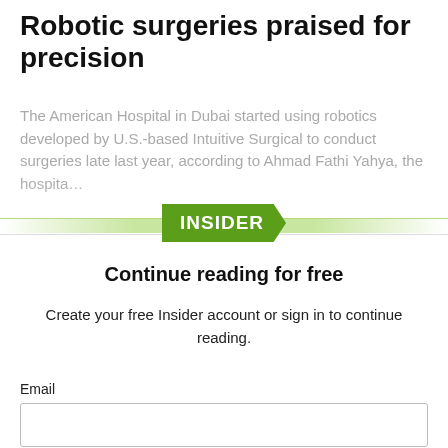Robotic surgeries praised for precision
The American Hospital in Dubai started using robotics developed by U.S.-based Intuitive Surgical to conduct surgeries late last year, according to Ahmad Fathi Yahya, the hospita…
[Figure (other): INSIDER badge/paywall overlay with green pentagon badge labeled INSIDER and green gradient divider bar]
Continue reading for free
Create your free Insider account or sign in to continue reading.
Email